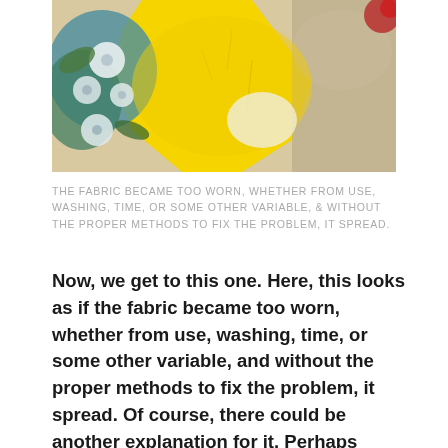[Figure (photo): A colorful quilt or fabric artwork featuring yellow, blue, green, and white floral and abstract patterns. The fabric shows areas of wear and damage.]
THE FABRIC BECAME TOO WORN, WHETHER FROM USE, WASHING, TIME, OR SOME OTHER VARIABLE, & WITHOUT THE PROPER METHODS TO FIX THE PROBLEM, IT SPREAD.
Now, we get to this one. Here, this looks as if the fabric became too worn, whether from use, washing, time, or some other variable, and without the proper methods to fix the problem, it spread. Of course, there could be another explanation for it. Perhaps someone ripped it, and the damage grew. Whatever the reason, the faulted block is in the midst of the quilt, and this fabric probably won't go together at this point. This one, dear readers, doesn't seem to be